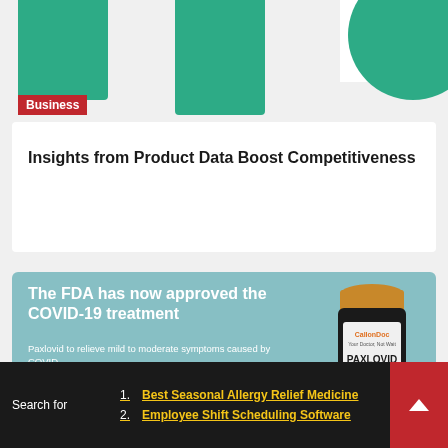[Figure (illustration): Decorative geometric shapes in teal/green color forming a header banner with rectangular columns and a circular element]
Business
Insights from Product Data Boost Competitiveness
[Figure (infographic): FDA COVID-19 treatment infographic: 'The FDA has now approved the COVID-19 treatment'. Paxlovid to relieve mild to moderate symptoms caused by COVID. This treatment is now available through... Image shows a bottle of PAXLOVID medication with pills.]
The FDA has now approved the COVID-19 treatment
Paxlovid to relieve mild to moderate symptoms caused by COVID.
This treatment is now available through
Search for
1. Best Seasonal Allergy Relief Medicine
2. Employee Shift Scheduling Software